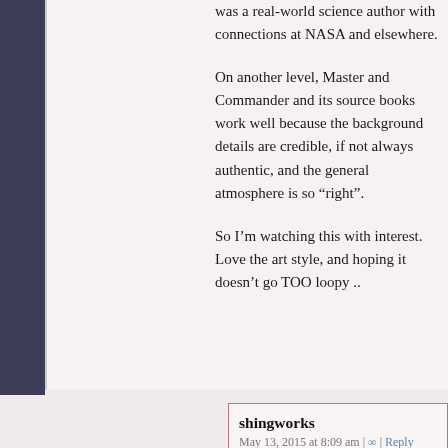was a real-world science author with connections at NASA and elsewhere.
On another level, Master and Commander and its source books work well because the background details are credible, if not always authentic, and the general atmosphere is so “right”.
So I’m watching this with interest. Love the art style, and hoping it doesn’t go TOO loopy ..
shingworks
May 13, 2015 at 8:09 am | ∞ | Reply
Very cool! Everything I’ve heard about offshore oil sounds intense… Stay safe!
Thanks for the rec, been meaning to check out M&C.
And… It gets very loopy, sorry in advance.
Brian
May 15, 2015 at 1:26 am | ∞
The Aubrey/Maturin books are fantastic stuff. Highly recommended. The nautical jargon can be a bit daunting...